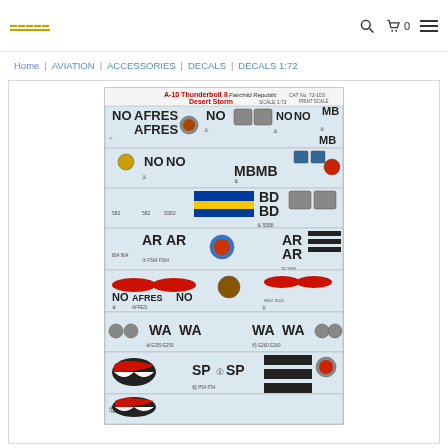Logo | Search | Cart 0 | Menu
Home | AVIATION | ACCESSORIES | DECALS | DECALS 1:72
[Figure (photo): A-10 Thunderbolt II Fairchild Republic Desert Storm decal sheet showing various aircraft markings, codes (NO, AFRES, MB, BD, AR, WA, SP), unit insignia, and scale 1:72 decals for multiple aircraft variants.]